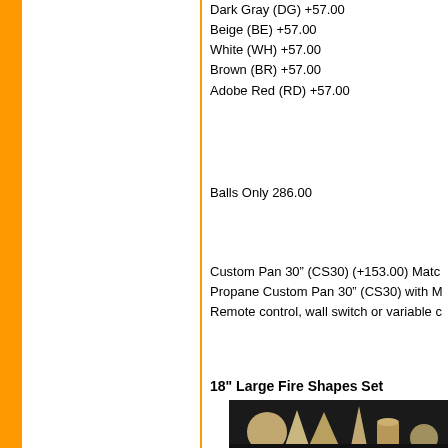Dark Gray (DG) +57.00
Beige (BE) +57.00
White (WH) +57.00
Brown (BR) +57.00
Adobe Red (RD) +57.00
Balls Only 286.00
Custom Pan 30” (CS30) (+153.00) Matc Propane Custom Pan 30” (CS30) with M Remote control, wall switch or variable c
18" Large Fire Shapes Set
[Figure (photo): Photo of large fire shapes set — ceramic geometric shapes including spheres, cones, cylinders and a pyramid on a dark background]